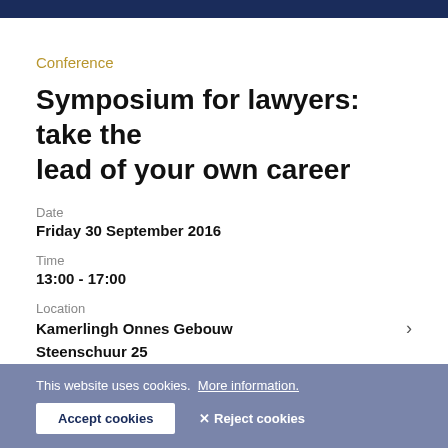Conference
Symposium for lawyers: take the lead of your own career
Date
Friday 30 September 2016
Time
13:00 - 17:00
Location
Kamerlingh Onnes Gebouw
Steenschuur 25
2311 ES Leiden
This website uses cookies. More information. Accept cookies Reject cookies